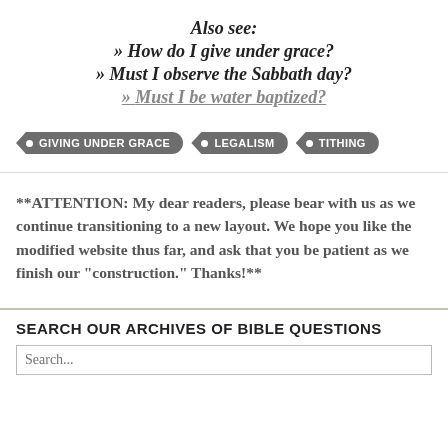Also see:
» How do I give under grace?
» Must I observe the Sabbath day?
» Must I be water baptized?
• GIVING UNDER GRACE
• LEGALISM
• TITHING
**ATTENTION: My dear readers, please bear with us as we continue transitioning to a new layout. We hope you like the modified website thus far, and ask that you be patient as we finish our “construction.” Thanks!**
SEARCH OUR ARCHIVES OF BIBLE QUESTIONS